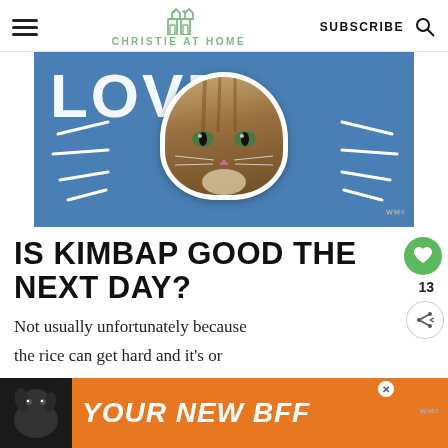CHRISTIE AT HOME | SUBSCRIBE
[Figure (photo): Hero image with blue background showing 'LOVE' text and a tabby cat face sticker with white radiating lines on either side]
IS KIMBAP GOOD THE NEXT DAY?
Not usually unfortunately because
[Figure (photo): Orange advertisement bar at the bottom with a dog image on the left and text 'YOUR NEW BFF' in white italic bold font]